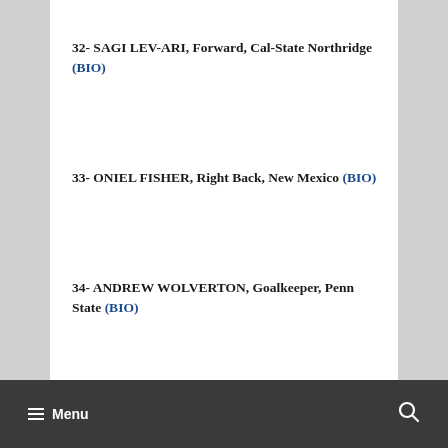32- SAGI LEV-ARI, Forward, Cal-State Northridge (BIO)
33- ONIEL FISHER, Right Back, New Mexico (BIO)
34- ANDREW WOLVERTON, Goalkeeper, Penn State (BIO)
≡ Menu 🔍